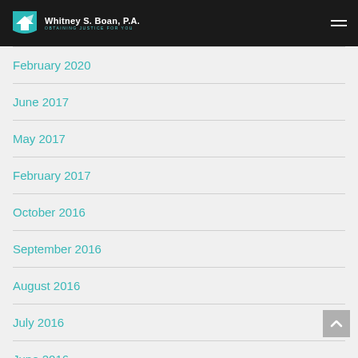Whitney S. Boan, P.A. — OBTAINING JUSTICE FOR YOU
February 2020
June 2017
May 2017
February 2017
October 2016
September 2016
August 2016
July 2016
June 2016